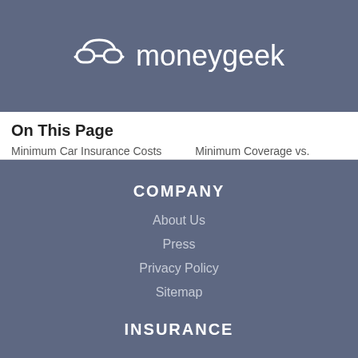[Figure (logo): MoneyGeek logo with car/glasses icon and text 'moneygeek']
On This Page
Minimum Car Insurance Costs    Minimum Coverage vs.
COMPANY
About Us
Press
Privacy Policy
Sitemap
INSURANCE